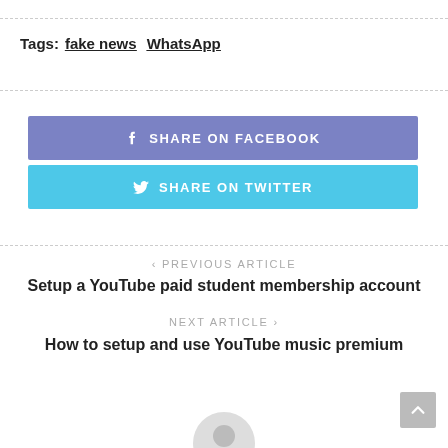Tags:  fake news  WhatsApp
SHARE ON FACEBOOK
SHARE ON TWITTER
< PREVIOUS ARTICLE
Setup a YouTube paid student membership account
NEXT ARTICLE >
How to setup and use YouTube music premium